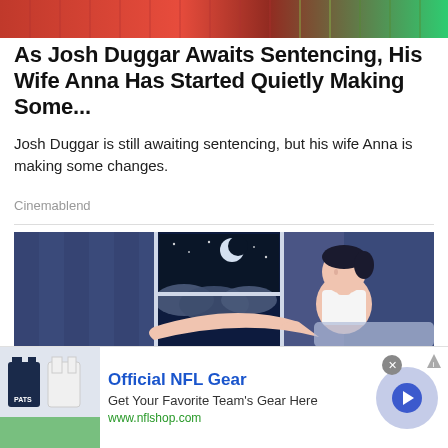[Figure (photo): Partial photo banner at top of page, showing people in colorful clothing]
As Josh Duggar Awaits Sentencing, His Wife Anna Has Started Quietly Making Some...
Josh Duggar is still awaiting sentencing, but his wife Anna is making some changes.
Cinemablend
[Figure (illustration): Illustrated image of a man in a white tank top sitting on a bed at night near a window, with a crescent moon and stars visible outside]
[Figure (photo): Advertisement banner: Official NFL Gear - Get Your Favorite Team's Gear Here - www.nflshop.com, with NFL jersey images and a blue arrow button]